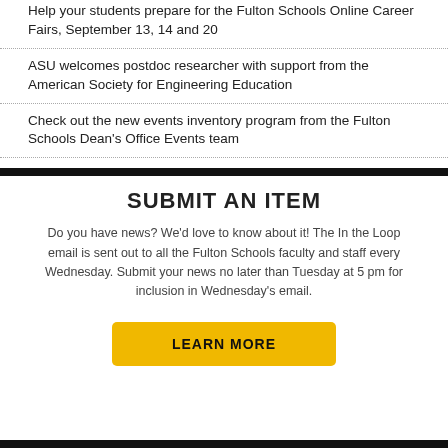Help your students prepare for the Fulton Schools Online Career Fairs, September 13, 14 and 20
ASU welcomes postdoc researcher with support from the American Society for Engineering Education
Check out the new events inventory program from the Fulton Schools Dean's Office Events team
SUBMIT AN ITEM
Do you have news? We'd love to know about it! The In the Loop email is sent out to all the Fulton Schools faculty and staff every Wednesday. Submit your news no later than Tuesday at 5 pm for inclusion in Wednesday's email.
LEARN MORE